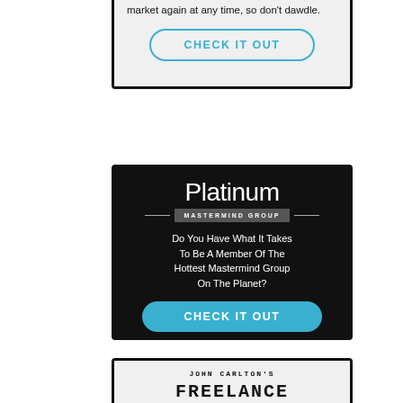[Figure (infographic): Top portion of a light gray ad box with 'CHECK IT OUT' button in cyan outline style. Text partially visible reads 'market again at any time, so don't dawdle.']
[Figure (infographic): Platinum Mastermind Group ad on black background. Title 'Platinum' in large white text, 'MASTERMIND GROUP' in small caps badge, tagline 'Do You Have What It Takes To Be A Member Of The Hottest Mastermind Group On The Planet?', and a solid cyan 'CHECK IT OUT' button.]
[Figure (infographic): Partially visible bottom ad box for John Carlton's Freelance course, showing 'JOHN CARLTON'S' and 'FREELANCE' text on light gray background.]